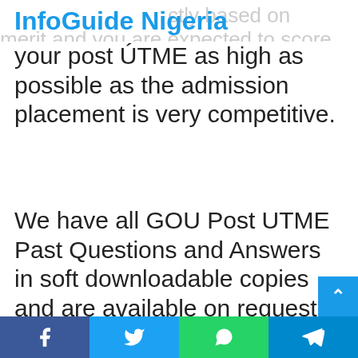InfoGuide Nigeria
your post UTME as high as possible as the admission placement is very competitive.
We have all GOU Post UTME Past Questions and Answers in soft downloadable copies and are available on request only. Some of it is published on this website. This question was painstakingly collated and typed to enable students who are far from Enugu city to get a soft copy